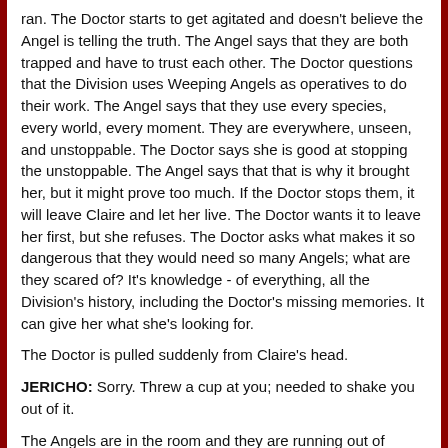ran. The Doctor starts to get agitated and doesn't believe the Angel is telling the truth. The Angel says that they are both trapped and have to trust each other. The Doctor questions that the Division uses Weeping Angels as operatives to do their work. The Angel says that they use every species, every world, every moment. They are everywhere, unseen, and unstoppable. The Doctor says she is good at stopping the unstoppable. The Angel says that that is why it brought her, but it might prove too much. If the Doctor stops them, it will leave Claire and let her live. The Doctor wants it to leave her first, but she refuses. The Doctor asks what makes it so dangerous that they would need so many Angels; what are they scared of? It's knowledge - of everything, all the Division's history, including the Doctor's missing memories. It can give her what she's looking for.
The Doctor is pulled suddenly from Claire's head.
JERICHO: Sorry. Threw a cup at you; needed to shake you out of it.
The Angels are in the room and they are running out of options; there are no exits. The Doctor questions that he hasn't read the floor plans. There is a tunnel in the basement. She takes a sledgehammer to the wall, revealing a door.
After opening the tunnel she sticks the head gear from his machine on two of the Angels and reverses the polarity which she says might give them a quantum headache.
They dash to the tunnel and the Doctor slams the door.